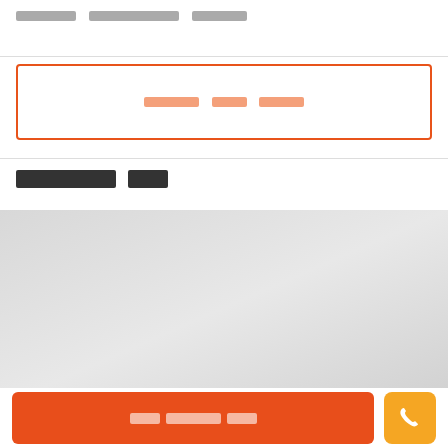[redacted header text]
[Figure (other): Outlined orange button with redacted text label]
[redacted section title]
[Figure (map): Gray map or image placeholder area]
[Figure (other): Bottom action bar with orange main button and orange phone button]